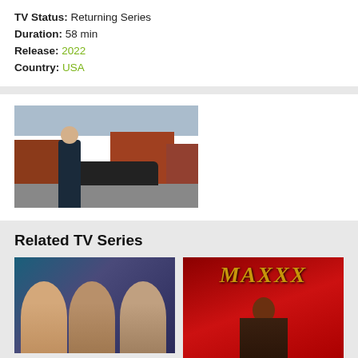TV Status: Returning Series
Duration: 58 min
Release: 2022
Country: USA
[Figure (photo): A woman with blonde hair wearing a dark jacket walking on a city street with brick buildings and a black car in the background.]
Related TV Series
[Figure (photo): Three people (two women and a man) shown in close-up against a blue/purple tinted background.]
[Figure (photo): MAXXX title text in gold/yellow letters on a red background with a woman's figure below.]